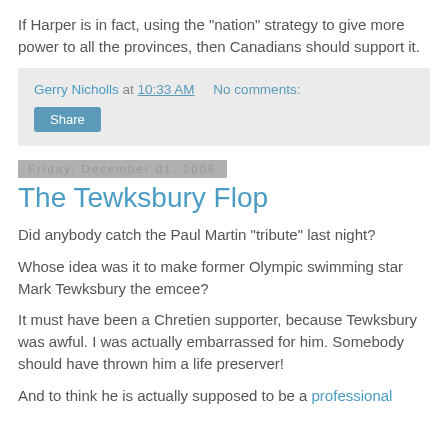If Harper is in fact, using the "nation" strategy to give more power to all the provinces, then Canadians should support it.
Gerry Nicholls at 10:33 AM    No comments:
Share
Friday, December 01, 2006
The Tewksbury Flop
Did anybody catch the Paul Martin "tribute" last night?
Whose idea was it to make former Olympic swimming star Mark Tewksbury the emcee?
It must have been a Chretien supporter, because Tewksbury was awful. I was actually embarrassed for him. Somebody should have thrown him a life preserver!
And to think he is actually supposed to be a professional